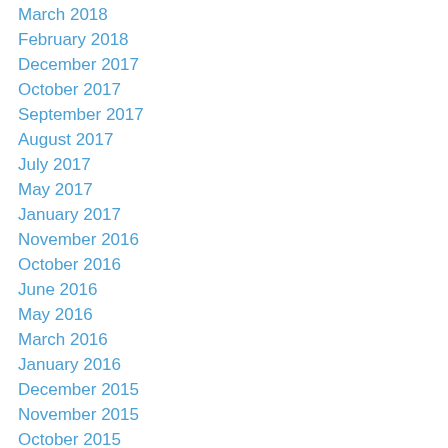March 2018
February 2018
December 2017
October 2017
September 2017
August 2017
July 2017
May 2017
January 2017
November 2016
October 2016
June 2016
May 2016
March 2016
January 2016
December 2015
November 2015
October 2015
September 2015
August 2015